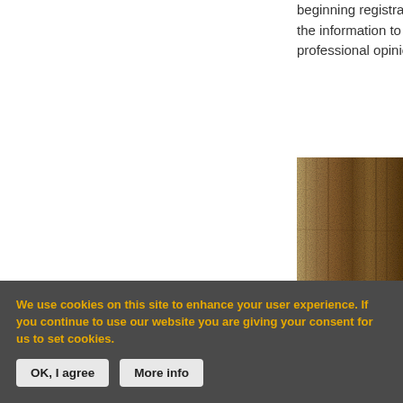beginning registrars received the information to be registered professional opinions for an
[Figure (photo): Close-up photograph of the spine/edge of an old book, showing aged brown leather binding with textured, worn surface.]
We use cookies on this site to enhance your user experience. If you continue to use our website you are giving your consent for us to set cookies.